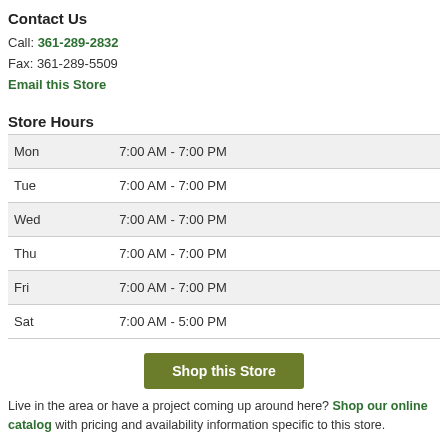Contact Us
Call: 361-289-2832
Fax: 361-289-5509
Email this Store
Store Hours
| Mon | 7:00 AM - 7:00 PM |
| Tue | 7:00 AM - 7:00 PM |
| Wed | 7:00 AM - 7:00 PM |
| Thu | 7:00 AM - 7:00 PM |
| Fri | 7:00 AM - 7:00 PM |
| Sat | 7:00 AM - 5:00 PM |
Shop this Store
Live in the area or have a project coming up around here? Shop our online catalog with pricing and availability information specific to this store.